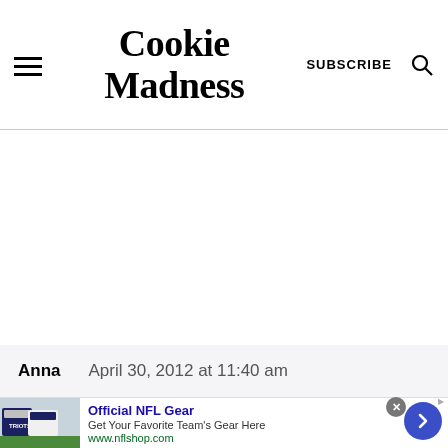Cookie Madness
Anna   April 30, 2012 at 11:40 am
[Figure (screenshot): Advertisement banner for Official NFL Gear showing football jerseys, with text 'Official NFL Gear - Get Your Favorite Team's Gear Here - www.nflshop.com', a close button, and a blue arrow button]